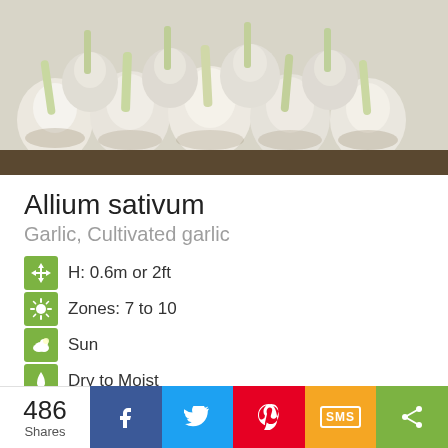[Figure (photo): Close-up photo of multiple white garlic bulbs with green stems bundled together]
Allium sativum
Garlic, Cultivated garlic
H: 0.6m or 2ft
Zones: 7 to 10
Sun
Dry to Moist
Allium sativum
486 Shares | Facebook | Twitter | Pinterest | SMS | Share